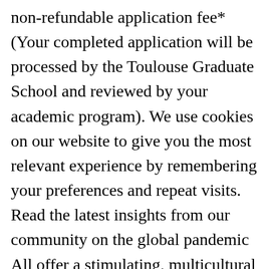non-refundable application fee* (Your completed application will be processed by the Toulouse Graduate School and reviewed by your academic program). We use cookies on our website to give you the most relevant experience by remembering your preferences and repeat visits. Read the latest insights from our community on the global pandemic All offer a stimulating, multicultural environment in which to study. Every year, TBS graduates enter the international business environment as a force for positive change. TBS are committed to training managers who are aware of social and environmental challenges from both local and